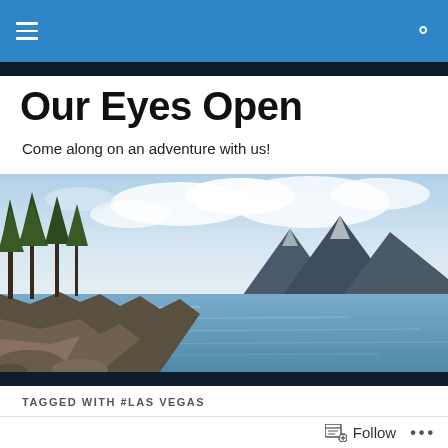Our Eyes Open – navigation bar
Our Eyes Open
Come along on an adventure with us!
[Figure (photo): Wide panoramic photo of a mountain lake scene: forested rocky shoreline on the left, calm water in the middle, dramatic mountain peaks under a cloudy sky on the right.]
TAGGED WITH #LAS VEGAS
[Figure (photo): Thumbnail strip showing partial image with 'Our Eyes Open' watermark text overlay on a sky background.]
Follow  •••